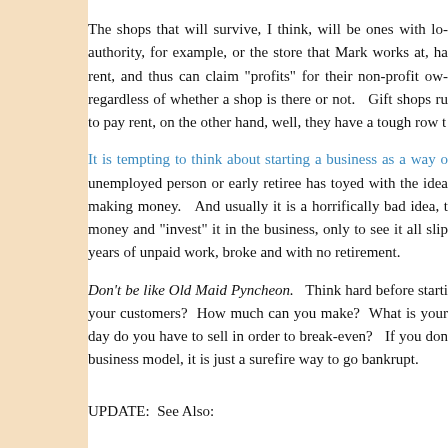The shops that will survive, I think, will be ones with low authority, for example, or the store that Mark works at, ha rent, and thus can claim "profits" for their non-profit own regardless of whether a shop is there or not.   Gift shops ru to pay rent, on the other hand, well, they have a tough row t
It is tempting to think about starting a business as a way o unemployed person or early retiree has toyed with the idea making money.   And usually it is a horrifically bad idea, t money and "invest" it in the business, only to see it all slip years of unpaid work, broke and with no retirement.
Don't be like Old Maid Pyncheon.   Think hard before starti your customers?  How much can you make?  What is your day do you have to sell in order to break-even?   If you don business model, it is just a surefire way to go bankrupt.
UPDATE:  See Also: